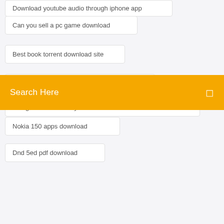Download youtube audio through iphone app
Can you sell a pc game download
Best book torrent download site
Electro theme full version free download
Resignation letter for your own self f...
Nokia 150 apps download
Dnd 5ed pdf download